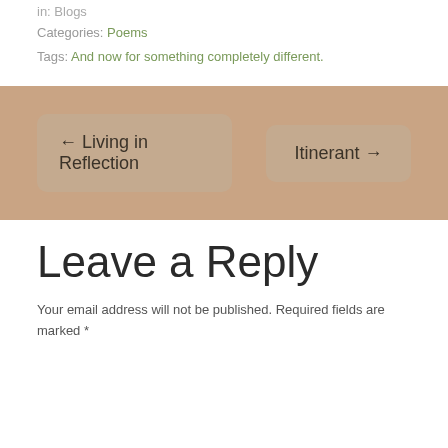in: Blogs
Categories: Poems
Tags: And now for something completely different.
← Living in Reflection
Itinerant →
Leave a Reply
Your email address will not be published. Required fields are marked *